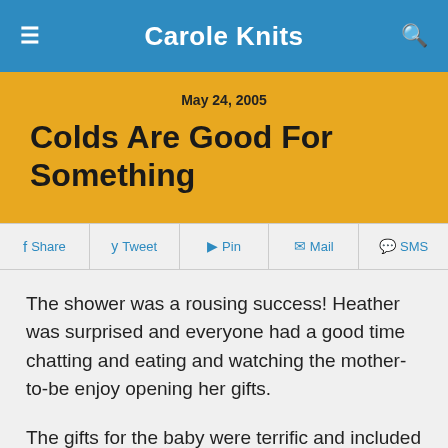Carole Knits
May 24, 2005
Colds Are Good For Something
Share  Tweet  Pin  Mail  SMS
The shower was a rousing success! Heather was surprised and everyone had a good time chatting and eating and watching the mother-to-be enjoy opening her gifts.
The gifts for the baby were terrific and included a beautiful “I-Spy” Quilt made by Lois. Here’s a great